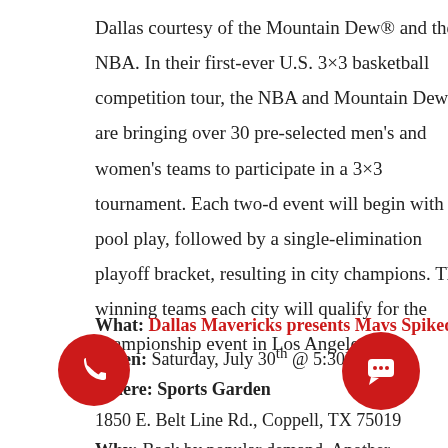Dallas courtesy of the Mountain Dew® and the NBA. In their first-ever U.S. 3×3 basketball competition tour, the NBA and Mountain Dew are bringing over 30 pre-selected men's and women's teams to participate in a 3×3 tournament. Each two-day event will begin with pool play, followed by a single-elimination playoff bracket, resulting in city champions. The winning teams in each city will qualify for the championship event in Los Angeles.
What: Dallas Mavericks presents Mavs Spiked!
When: Saturday, July 30th @ 5:30PM
Where: Sports Garden
1850 E. Belt Line Rd., Coppell, TX 75019
Why: Back by popular demand, Another Mavericks Production for year two of Mavs Spiked!, a totally rad, glo-da sand volleyball tournament and party. Each team entry include